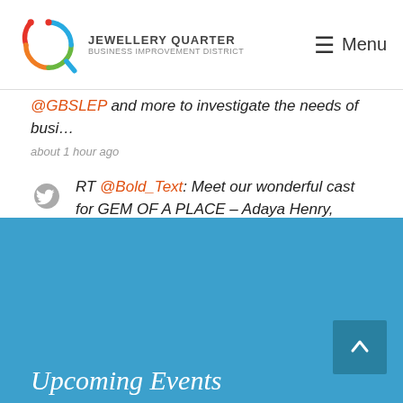Jewellery Quarter Business Improvement District | Menu
@GBSLEP and more to investigate the needs of busi…
about 1 hour ago
RT @Bold_Text: Meet our wonderful cast for GEM OF A PLACE – Adaya Henry, Aizah Khan, Deborah Tracey, Graeme Rose & Sam Butters! Grab your t…
about 1 hour ago
Upcoming Events